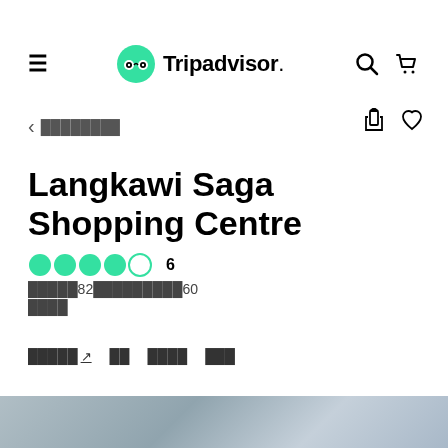Tripadvisor
< ████████
Langkawi Saga Shopping Centre
●●●●◐○ 6
█████82██████████60
████
█████ ↗   ██   ████   ███
[Figure (photo): Bottom strip showing a blurred outdoor/landscape photo in muted blue-gray tones]